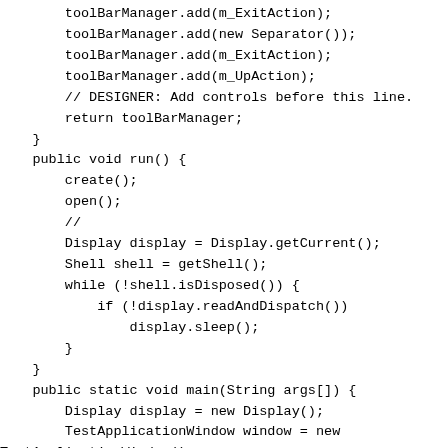toolBarManager.add(m_ExitAction);
    toolBarManager.add(new Separator());
    toolBarManager.add(m_ExitAction);
    toolBarManager.add(m_UpAction);
    // DESIGNER: Add controls before this line.
    return toolBarManager;
}
public void run() {
    create();
    open();
    //
    Display display = Display.getCurrent();
    Shell shell = getShell();
    while (!shell.isDisposed()) {
        if (!display.readAndDispatch())
            display.sleep();
    }
}
public static void main(String args[]) {
    Display display = new Display();
    TestApplicationWindow window = new
TestApplicationWindow();
    window.run();
}
protected void configureShell(Shell newShell) {